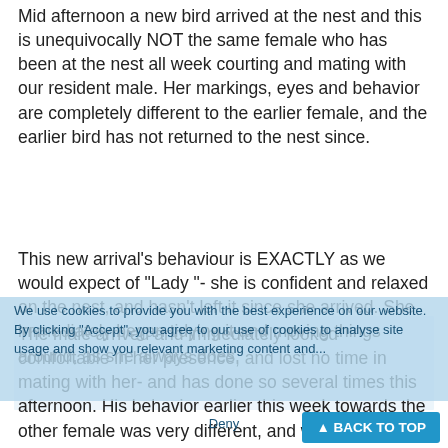Mid afternoon a new bird arrived at the nest and this is unequivocally NOT the same female who has been at the nest all week courting and mating with our resident male. Her markings, eyes and behavior are completely different to the earlier female, and the earlier bird has not returned to the nest since.
This new arrival's behaviour is EXACTLY as we would expect of "Lady "- she is confident and relaxed on the nest, and hasn't left it since she arrived. She immediately began tidying it and moving things around, as she always does.
We use cookies to provide you with the best experience on our website. By clicking "Accept", you agree to our use of cookies to analyse site usage and show you relevant marketing content and...
The male arrived and immediately looked comfortable in her presence, and lost no time in mating with her- and has done so several times this afternoon. His behavior earlier this week towards the other female was very different, and we think this is also an important